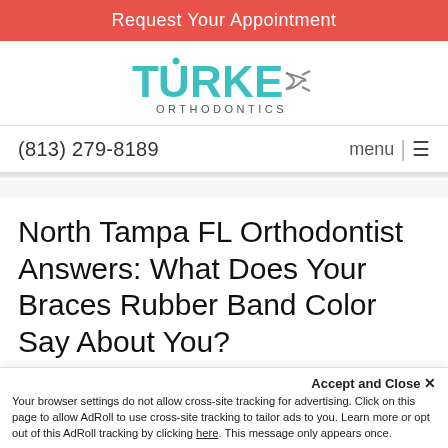Request Your Appointment
[Figure (logo): Turke Orthodontics logo with teal lettering and fish symbol]
(813) 279-8189    menu  |  ☰
North Tampa FL Orthodontist Answers: What Does Your Braces Rubber Band Color Say About You?
Accept and Close ✕
Your browser settings do not allow cross-site tracking for advertising. Click on this page to allow AdRoll to use cross-site tracking to tailor ads to you. Learn more or opt out of this AdRoll tracking by clicking here. This message only appears once.